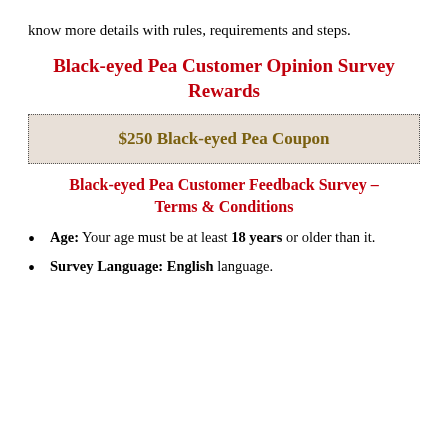know more details with rules, requirements and steps.
Black-eyed Pea Customer Opinion Survey Rewards
$250 Black-eyed Pea Coupon
Black-eyed Pea Customer Feedback Survey – Terms & Conditions
Age: Your age must be at least 18 years or older than it.
Survey Language: English language.